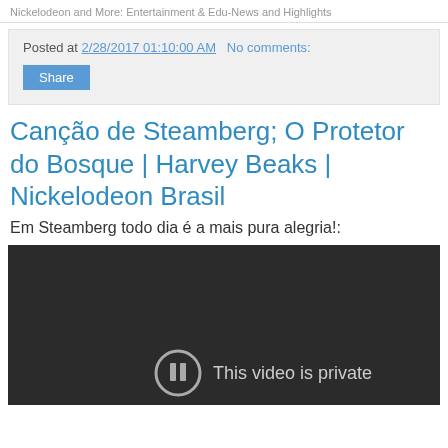Nickelodeon and More: Entertainment & Edu-News and Highlights
Posted at 2/28/2017 01:10:00 AM   No comments:
Share
Canção de Steamberg; O Protetor do Bosque | Harvey Beaks | Nickelodeon Brasil
Em Steamberg todo dia é a mais pura alegria!:
[Figure (screenshot): Dark video player showing 'This video is private' message with a circular pause/info icon]